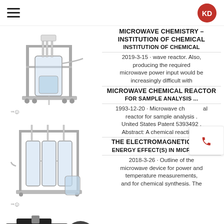KD logo and hamburger menu
[Figure (photo): Stainless steel microwave chemistry reactor on wheeled frame with glass vessel and tubing, CE marked]
[Figure (photo): Stainless steel multi-column microwave chemical reactor with glass vessels and tubing, CE marked]
[Figure (photo): Black electric vacuum pump motor unit]
MICROWAVE CHEMISTRY - INSTITUTION OF CHEMICAL
2019-3-15 · wave reactor. Also, producing the required microwave power input would be increasingly difficult with
MICROWAVE CHEMICAL REACTOR FOR SAMPLE ANALYSIS ...
1993-12-20 · Microwave chemical reactor for sample analysis . United States Patent 5393492 . Abstract: A chemical reaction is
THE ELECTROMAGNETIC WAVE ENERGY EFFECT(S) IN MICROWAVE
2018-3-26 · Outline of the microwave device for power and temperature measurements, and for chemical synthesis. The